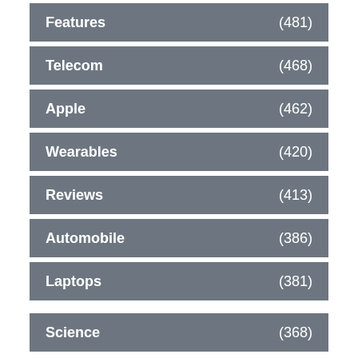Features (481)
Telecom (468)
Apple (462)
Wearables (420)
Reviews (413)
Automobile (386)
Laptops (381)
Science (368)